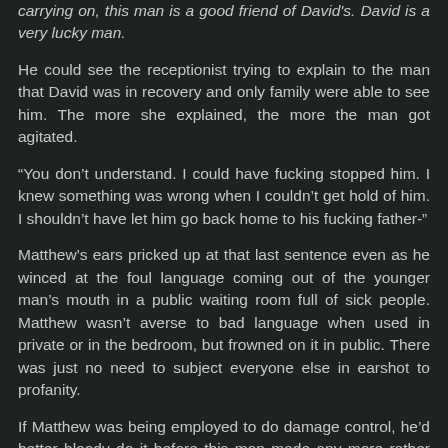carrying on, this man is a good friend of David's. David is a very lucky man.
He could see the receptionist trying to explain to the man that David was in recovery and only family were able to see him. The more she explained, the more the man got agitated.
“You don’t understand. I could have fucking stopped him. I knew something was wrong when I couldn’t get hold of him. I shouldn’t have let him go back home to his fucking father-”
Matthew’s ears pricked up at that last sentence even as he winced at the foul language coming out of the younger man’s mouth in a public waiting room full of sick people. Matthew wasn’t averse to bad language when used in private or in the bedroom, but frowned on it in public. There was just no need to subject everyone else in earshot to profanity.
If Matthew was being employed to do damage control, he’d better bloody do it before this man made any more rather inflammatory statements.